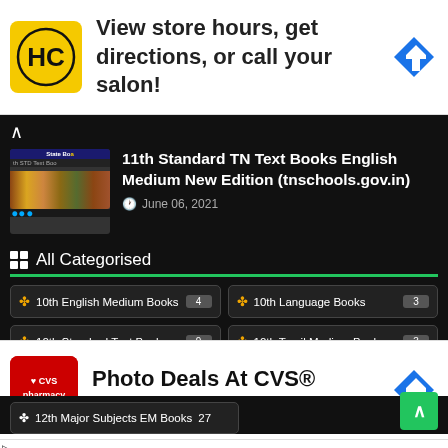[Figure (screenshot): Top advertisement banner: HC logo on yellow background, text 'View store hours, get directions, or call your salon!', blue diamond arrow icon on right]
[Figure (screenshot): Article thumbnail: State Books / 11th STD Text Books cover image]
11th Standard TN Text Books English Medium New Edition (tnschools.gov.in)
June 06, 2021
All Categorised
10th English Medium Books  4
10th Language Books  3
10th Standard Text Books  9
10th Tamil Medium Books  3
11th English Medium Books  24
[Figure (screenshot): Bottom advertisement: CVS Pharmacy logo, 'Photo Deals At CVS®', 'CVS Photo' in blue, blue diamond arrow icon]
12th Major Subjects EM Books  27